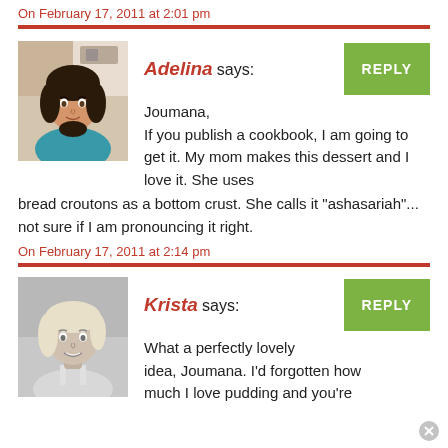On February 17, 2011 at 2:01 pm
[Figure (illustration): Red horizontal divider line]
[Figure (photo): Color photo of Adelina, a young woman with dark hair wearing a teal shirt]
Adelina says:
REPLY
Joumana,
If you publish a cookbook, I am going to get it. My mom makes this dessert and I love it. She uses bread croutons as a bottom crust. She calls it "ashasariah"... not sure if I am pronouncing it right.
On February 17, 2011 at 2:14 pm
[Figure (illustration): Red horizontal divider line]
[Figure (photo): Black and white photo of Krista, a woman with light hair smiling]
Krista says:
REPLY
What a perfectly lovely idea, Joumana. I'd forgotten how much I love pudding and you're